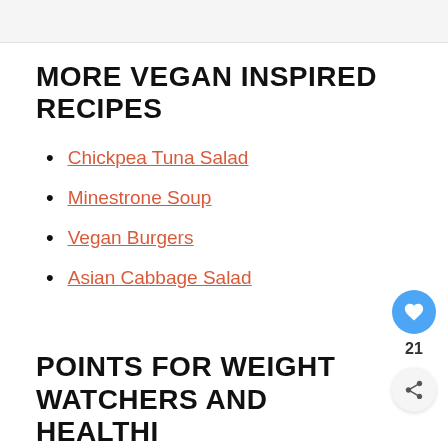MORE VEGAN INSPIRED RECIPES
Chickpea Tuna Salad
Minestrone Soup
Vegan Burgers
Asian Cabbage Salad
POINTS FOR WEIGHT WATCHERS AND HEALTHI